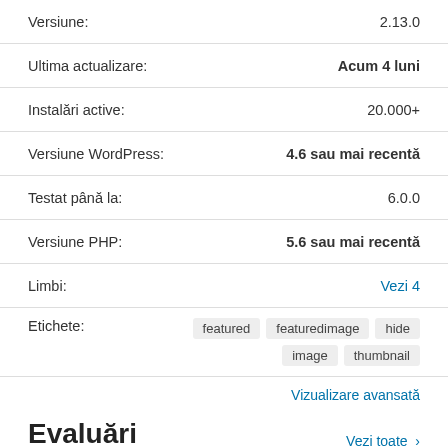Versiune: 2.13.0
Ultima actualizare: Acum 4 luni
Instalări active: 20.000+
Versiune WordPress: 4.6 sau mai recentă
Testat până la: 6.0.0
Versiune PHP: 5.6 sau mai recentă
Limbi: Vezi 4
Etichete: featured featuredimage hide image thumbnail
Vizualizare avansată
Evaluări
Vezi toate